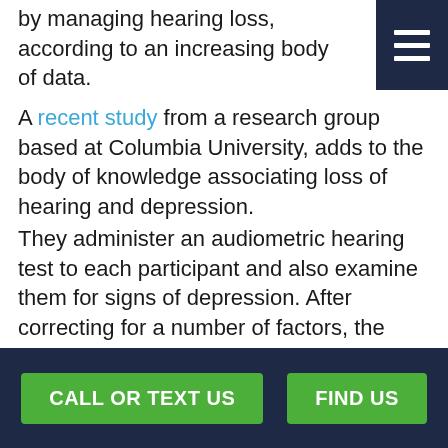by managing hearing loss, according to an increasing body of data.
A recent study from a research group based at Columbia University, adds to the body of knowledge associating loss of hearing and depression.
They administer an audiometric hearing test to each participant and also examine them for signs of depression. After correcting for a number of factors, the researchers discovered that the odds of showing clinically significant symptoms of depression increased by about 45% for every 20-decibel increase in loss of
CALL OR TEXT US   FIND US